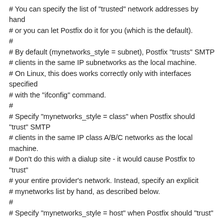# You can specify the list of "trusted" network addresses by hand
# or you can let Postfix do it for you (which is the default).
#
# By default (mynetworks_style = subnet), Postfix "trusts" SMTP
# clients in the same IP subnetworks as the local machine.
# On Linux, this does works correctly only with interfaces specified
# with the "ifconfig" command.
#
# Specify "mynetworks_style = class" when Postfix should "trust" SMTP
# clients in the same IP class A/B/C networks as the local machine.
# Don't do this with a dialup site - it would cause Postfix to "trust"
# your entire provider's network. Instead, specify an explicit
# mynetworks list by hand, as described below.
#
# Specify "mynetworks_style = host" when Postfix should "trust"